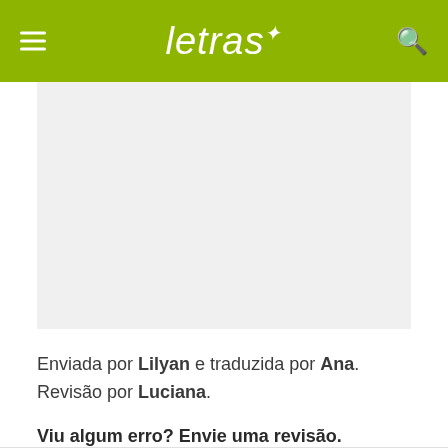letras
[Figure (other): Gray advertisement/content placeholder area]
Enviada por Lilyan e traduzida por Ana. Revisão por Luciana.
Viu algum erro? Envie uma revisão.